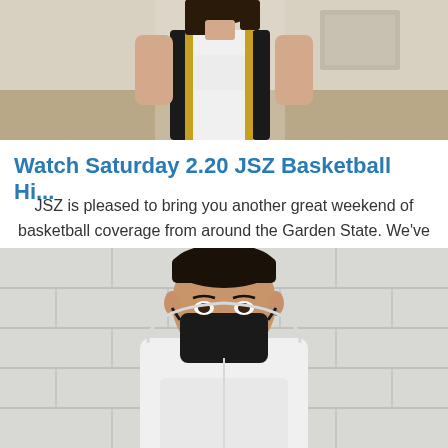[Figure (photo): Top portion of a basketball player wearing a white and black/yellow jersey, hair visible, in a gymnasium setting]
Watch Saturday 2.20 JSZ Basketball Hi...
JSZ is pleased to bring you another great weekend of basketball coverage from around the Garden State. We've got highlights from a number of top boys and girls teams from Saturday's action!
[Figure (photo): Young male athlete wearing a white hoodie and black face mask, standing in front of a cinder block wall]